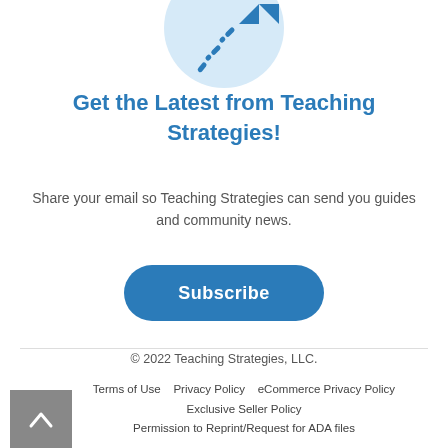[Figure (illustration): Rocket/paper airplane icon with dashed trail on a light blue circle background, pointing upper right]
Get the Latest from Teaching Strategies!
Share your email so Teaching Strategies can send you guides and community news.
[Figure (other): Subscribe button — rounded rectangle in steel blue with white text 'Subscribe']
© 2022 Teaching Strategies, LLC.
Terms of Use    Privacy Policy    eCommerce Privacy Policy    Exclusive Seller Policy    Permission to Reprint/Request for ADA files